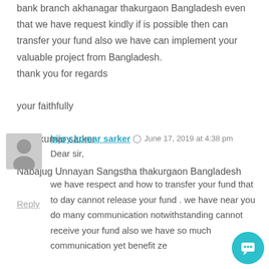bank branch akhanagar thakurgaon Bangladesh even that we have request kindly if is possible then can transfer your fund also we have can implement your valuable project from Bangladesh.
thank you for regards
your faithfully
bijoy kumar sarker
Nabajug Unnayan Sangstha thakurgaon Bangladesh
Reply
bijoy kumar sarker  June 17, 2019 at 4:38 pm
Dear sir,
we have respect and how to transfer your fund that to day cannot release your fund . we have near you do many communication notwithstanding cannot receive your fund also we have so much communication yet benefit ze... that we have request kindly also do not harassment... thank you for regards